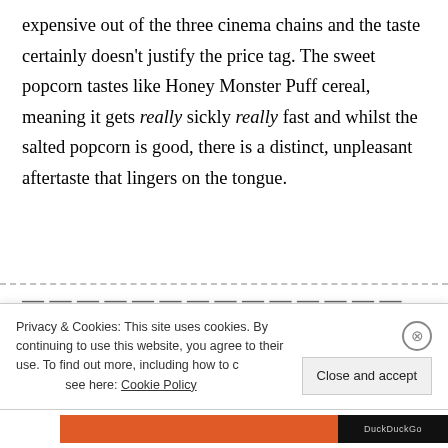expensive out of the three cinema chains and the taste certainly doesn't justify the price tag. The sweet popcorn tastes like Honey Monster Puff cereal, meaning it gets really sickly really fast and whilst the salted popcorn is good, there is a distinct, unpleasant aftertaste that lingers on the tongue.
Privacy & Cookies: This site uses cookies. By continuing to use this website, you agree to their use. To find out more, including how to control cookies, see here: Cookie Policy
Close and accept